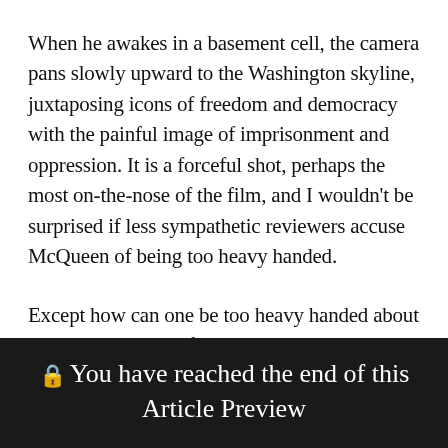When he awakes in a basement cell, the camera pans slowly upward to the Washington skyline, juxtaposing icons of freedom and democracy with the painful image of imprisonment and oppression. It is a forceful shot, perhaps the most on-the-nose of the film, and I wouldn’t be surprised if less sympathetic reviewers accuse McQueen of being too heavy handed.
Except how can one be too heavy handed about slavery? Isn’t part of our irritation because we want, need, and have come to expect our individual ...
🔒 You have reached the end of this Article Preview